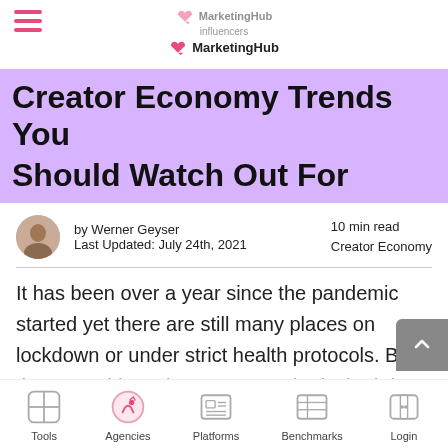MarketingHub (with influencers logo)
Creator Economy Trends You Should Watch Out For
by Werner Geyser
Last Updated: July 24th, 2021
10 min read
Creator Economy
It has been over a year since the pandemic started yet there are still many places on lockdown or under strict health protocols. But there are things that can never be locked down like creativity and innovation,